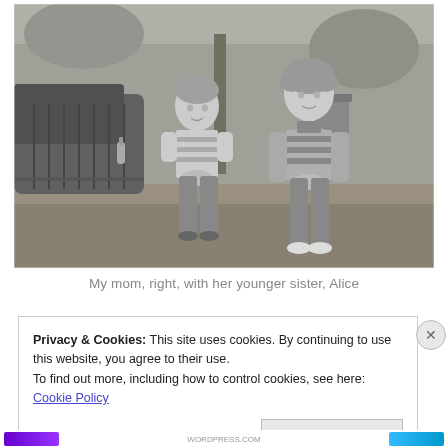[Figure (photo): Black and white photograph of two children standing outdoors. On the left is a younger child in a striped t-shirt and pants with hands clasped in front. On the right is an older child in a striped top and overalls leaning against something. An old car is visible on the left side, trees and outdoor background behind them.]
My mom, right, with her younger sister, Alice
Privacy & Cookies: This site uses cookies. By continuing to use this website, you agree to their use.
To find out more, including how to control cookies, see here: Cookie Policy
Close and accept